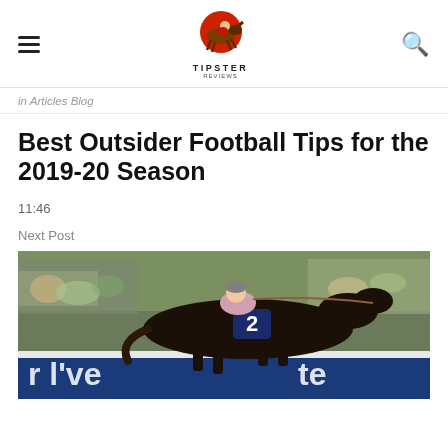TIPSTER (logo with hamburger menu and search icon)
in Articles Blog
Best Outsider Football Tips for the 2019-20 Season
11:46
Next Post
[Figure (photo): A dark horse with number 2 saddle cloth ridden by a jockey in a horse race, with a crowd in the background and blue advertising boards at the bottom reading partial text.]